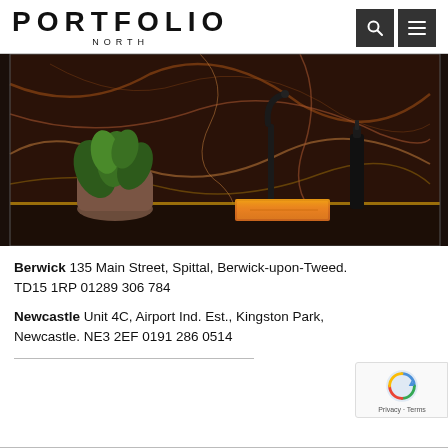PORTFOLIO NORTH
[Figure (photo): Dark interior kitchen or bar surface with dramatic dark marble backsplash with copper/gold veining, a potted green plant on the left, a tall black tap/faucet, and a glowing amber/gold rectangular sink or basin. Moody, luxury aesthetic.]
Berwick 135 Main Street, Spittal, Berwick-upon-Tweed. TD15 1RP 01289 306 784
Newcastle Unit 4C, Airport Ind. Est., Kingston Park, Newcastle. NE3 2EF 0191 286 0514